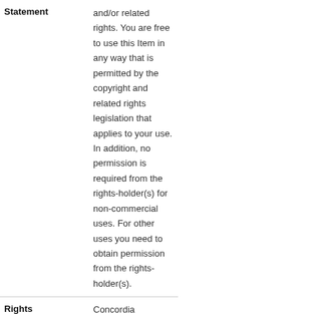| Label | Value |
| --- | --- |
| Statement | and/or related rights. You are free to use this Item in any way that is permitted by the copyright and related rights legislation that applies to your use. In addition, no permission is required from the rights-holder(s) for non-commercial uses. For other uses you need to obtain permission from the rights-holder(s). |
| Rights Holder | Concordia University, St. Paul |
| Title | 1987 Scribe |
| Item Physical Format | print |
| Date of Creation | 1986-1987 |
| Rights | This Item is protected by copyright |